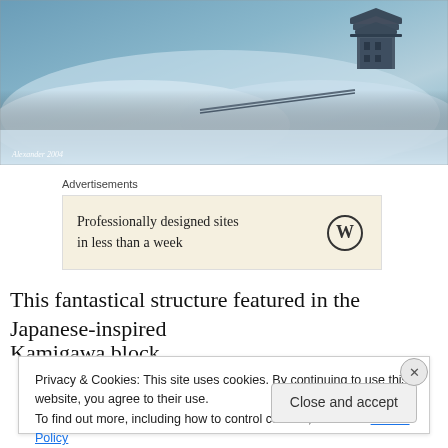[Figure (illustration): Fantastical Japanese-inspired castle/pagoda structure surrounded by misty, snow-like clouds and fog. Blue-grey color palette. Watermark text 'Alexander 2004' in lower left corner.]
Alexander 2004
Advertisements
[Figure (screenshot): WordPress advertisement banner with text 'Professionally designed sites in less than a week' and WordPress logo on beige background.]
This fantastical structure featured in the Japanese-inspired
Kamigawa block
Privacy & Cookies: This site uses cookies. By continuing to use this website, you agree to their use.
To find out more, including how to control cookies, see here: Cookie Policy
Close and accept